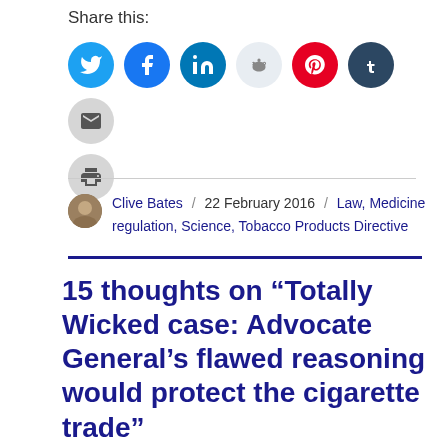Share this:
[Figure (infographic): Social sharing icons: Twitter (blue), Facebook (blue), LinkedIn (teal), Reddit (light gray), Pinterest (red), Tumblr (dark), Email (gray), Print (gray)]
Clive Bates / 22 February 2016 / Law, Medicine regulation, Science, Tobacco Products Directive
15 thoughts on “Totally Wicked case: Advocate General’s flawed reasoning would protect the cigarette trade”